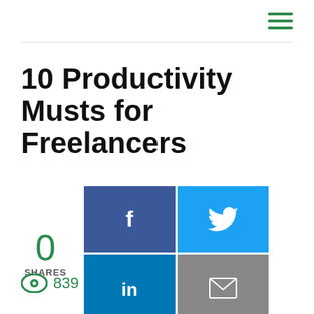10 Productivity Musts for Freelancers
0 SHARES
[Figure (infographic): Social share buttons: Facebook (blue, f icon), Twitter (light blue, bird icon), LinkedIn (blue, in icon), Email (gray, envelope icon) arranged in a 2x2 grid]
839 views